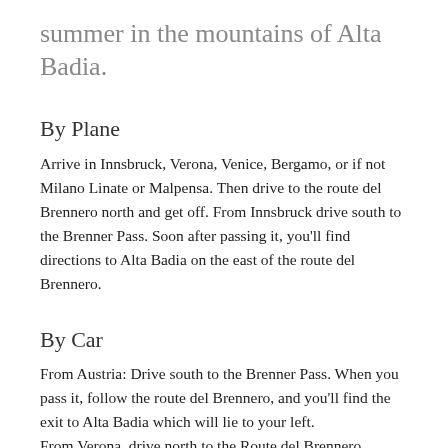summer in the mountains of Alta Badia.
By Plane
Arrive in Innsbruck, Verona, Venice, Bergamo, or if not Milano Linate or Malpensa. Then drive to the route del Brennero north and get off. From Innsbruck drive south to the Brenner Pass. Soon after passing it, you'll find directions to Alta Badia on the east of the route del Brennero.
By Car
From Austria: Drive south to the Brenner Pass. When you pass it, follow the route del Brennero, and you'll find the exit to Alta Badia which will lie to your left.
From Verona, drive north to the Route del Brennero.
Before arriving into the crossing with Austria, you'll be